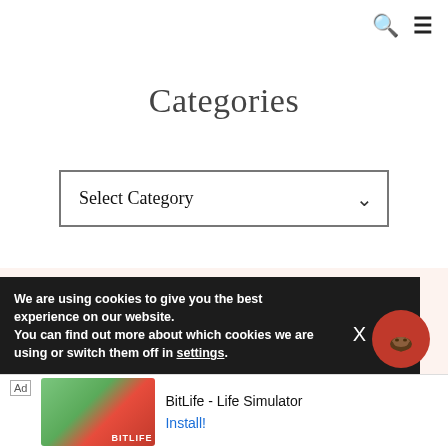Navigation bar with search and menu icons
Categories
Select Category
TRAVELS WITH THE CREW is a participant in the Amazon Services LLC Associates Program, an affiliate
We are using cookies to give you the best experience on our website.
You can find out more about which cookies we are using or switch them off in settings.
[Figure (screenshot): Cookie consent banner with icon and close button]
[Figure (screenshot): Ad banner for BitLife - Life Simulator with Install button]